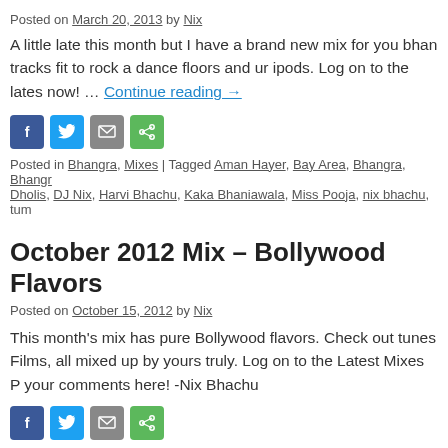Posted on March 20, 2013 by Nix
A little late this month but I have a brand new mix for you bhan tracks fit to rock a dance floors and ur ipods. Log on to the lates now! … Continue reading →
[Figure (other): Social share icons: Facebook (blue), Twitter (blue), Email (grey), Share (green)]
Posted in Bhangra, Mixes | Tagged Aman Hayer, Bay Area, Bhangra, Bhangr Dholis, DJ Nix, Harvi Bhachu, Kaka Bhaniawala, Miss Pooja, nix bhachu, tum
October 2012 Mix – Bollywood Flavors
Posted on October 15, 2012 by Nix
This month's mix has pure Bollywood flavors. Check out tunes Films, all mixed up by yours truly. Log on to the Latest Mixes P your comments here! -Nix Bhachu
[Figure (other): Social share icons: Facebook (blue), Twitter (blue), Email (grey), Share (green)]